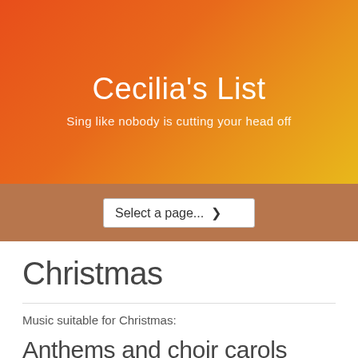Cecilia's List
Sing like nobody is cutting your head off
Christmas
Music suitable for Christmas:
Anthems and choir carols
Bebbington, Amy. Blessed be that Maid Marie.